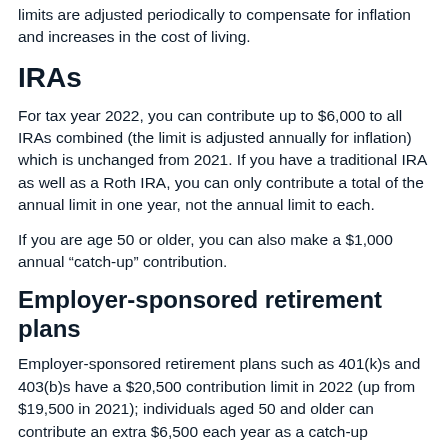limits are adjusted periodically to compensate for inflation and increases in the cost of living.
IRAs
For tax year 2022, you can contribute up to $6,000 to all IRAs combined (the limit is adjusted annually for inflation) which is unchanged from 2021. If you have a traditional IRA as well as a Roth IRA, you can only contribute a total of the annual limit in one year, not the annual limit to each.
If you are age 50 or older, you can also make a $1,000 annual “catch-up” contribution.
Employer-sponsored retirement plans
Employer-sponsored retirement plans such as 401(k)s and 403(b)s have a $20,500 contribution limit in 2022 (up from $19,500 in 2021); individuals aged 50 and older can contribute an extra $6,500 each year as a catch-up contribution (unchanged from 2021). (Section 403(b) and 457(b) plans may also provide special catch-up opportunities.)